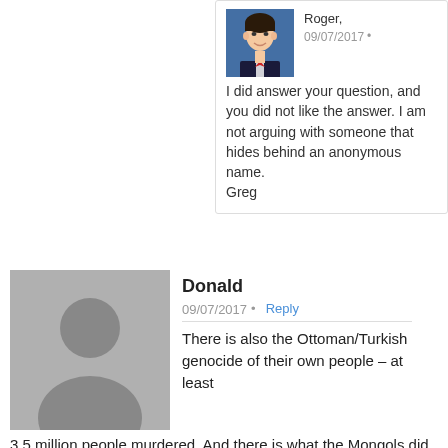Roger,
I did answer your question, and you did not like the answer. I am not arguing with someone that hides behind an anonymous name.
Greg
09/07/2017
Donald 09/07/2017 • Reply
There is also the Ottoman/Turkish genocide of their own people – at least 3.5 million people murdered. And there is what the Mongols did to Europe in the 14th century – sent the Black Death that killed at least 1/3 of Europe's population (at least 25 million people died). How about what happened in Cambodia? Pol Pot was responsible for 1.5 to 3 million people being murdered for no sane reason. This is not in defense